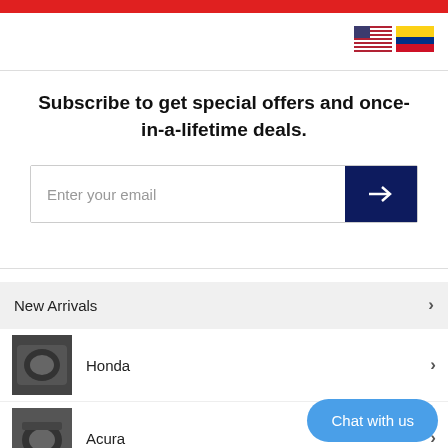[Figure (other): Red navigation bar at top of page]
[Figure (other): US flag and Colombia flag icons in top right]
Subscribe to get special offers and once-in-a-lifetime deals.
[Figure (other): Email subscription input field with dark navy blue arrow button]
New Arrivals
Honda
Acura
Toyota
[Figure (other): Chat with us button in blue]